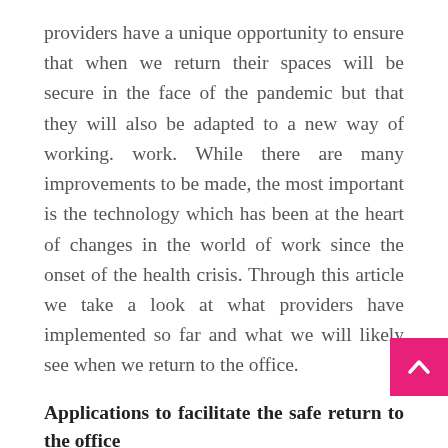providers have a unique opportunity to ensure that when we return their spaces will be secure in the face of the pandemic but that they will also be adapted to a new way of working. work. While there are many improvements to be made, the most important is the technology which has been at the heart of changes in the world of work since the onset of the health crisis. Through this article we take a look at what providers have implemented so far and what we will likely see when we return to the office.
Applications to facilitate the safe return to the office
While workspace apps aren't something new, they're a good way to deliver real-time